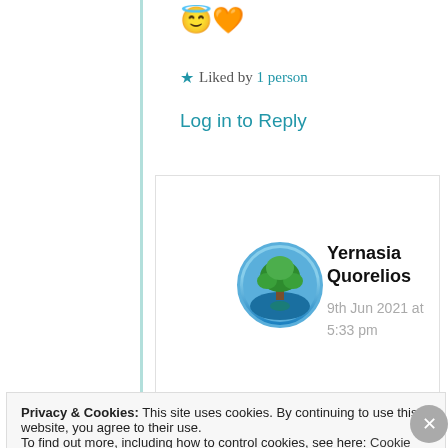😇🧡
★ Liked by 1 person
Log in to Reply
[Figure (illustration): Circular avatar image of a green tree reflected in water, with a blue sky background, used as a user profile photo for Yernasia Quorelios]
Yernasia Quorelios
9th Jun 2021 at 5:33 pm
Privacy & Cookies: This site uses cookies. By continuing to use this website, you agree to their use.
To find out more, including how to control cookies, see here: Cookie Policy
Close and accept